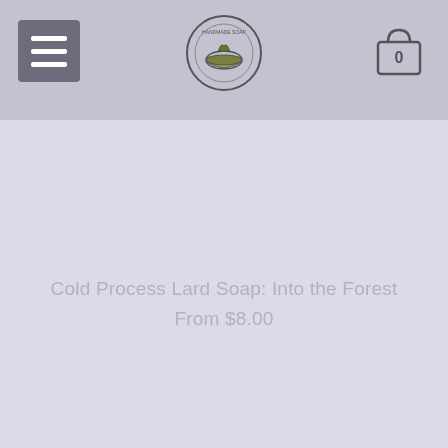Navigation header with hamburger menu, logo, and cart icon
[Figure (logo): Circular logo emblem with illustrated design in center]
[Figure (illustration): Shopping bag / cart icon with number 0]
Cold Process Lard Soap: Into the Forest
From $8.00